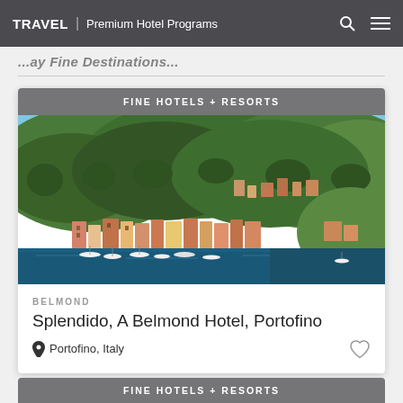TRAVEL | Premium Hotel Programs
... (partially visible heading text cut off)
FINE HOTELS + RESORTS
[Figure (photo): Aerial view of Portofino, Italy showing colorful waterfront buildings, marina with sailboats, and green hillside with trees under blue sky]
BELMOND
Splendido, A Belmond Hotel, Portofino
Portofino, Italy
FINE HOTELS + RESORTS